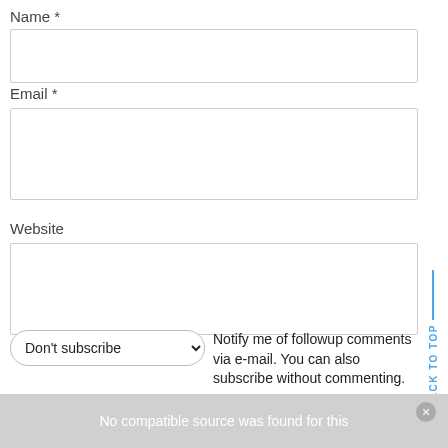Name *
Email *
Website
Don't subscribe   Notify me of followup comments via e-mail. You can also subscribe without commenting.
Post Comment
BACK TO TOP
No compatible source was found for this